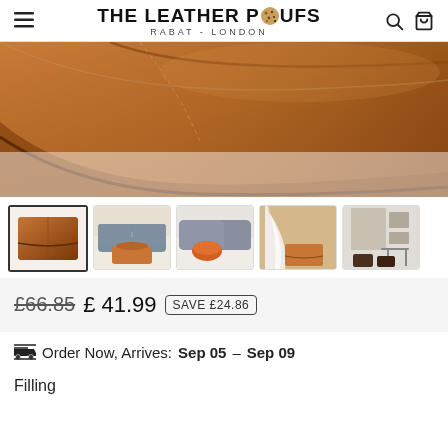THE LEATHER POUFS RABAT - LONDON
[Figure (photo): Close-up of a brown leather pouf showing stitching detail and corner, cropped view from above]
[Figure (photo): Thumbnail 1: Brown square leather pouf on its own, tan/cognac color]
[Figure (photo): Thumbnail 2: Living room with blue-grey sectional sofa and tan leather ottoman/coffee table]
[Figure (photo): Thumbnail 3: Living room with grey sectional sofa and round orange Moroccan pouf]
[Figure (photo): Thumbnail 4: Room corner with white drape and tan/brown leather square pouf]
[Figure (photo): Thumbnail 5: Room with wall art, small table, and two small dark leather poufs]
£66.85 £41.99 SAVE £24.86
Order Now, Arrives: Sep 05 – Sep 09
Filling